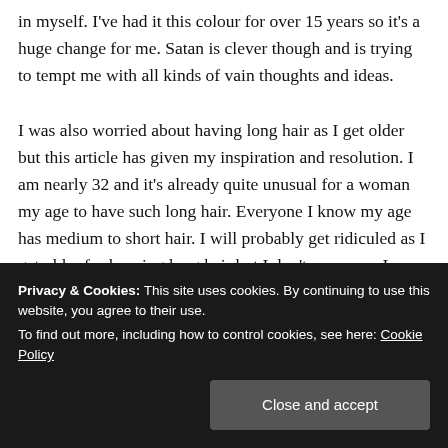in myself. I've had it this colour for over 15 years so it's a huge change for me. Satan is clever though and is trying to tempt me with all kinds of vain thoughts and ideas.
I was also worried about having long hair as I get older but this article has given my inspiration and resolution. I am nearly 32 and it's already quite unusual for a woman my age to have such long hair. Everyone I know my age has medium to short hair. I will probably get ridiculed as I get older for keeping long hair but I don't care now. I
Privacy & Cookies: This site uses cookies. By continuing to use this website, you agree to their use.
To find out more, including how to control cookies, see here: Cookie Policy
Close and accept